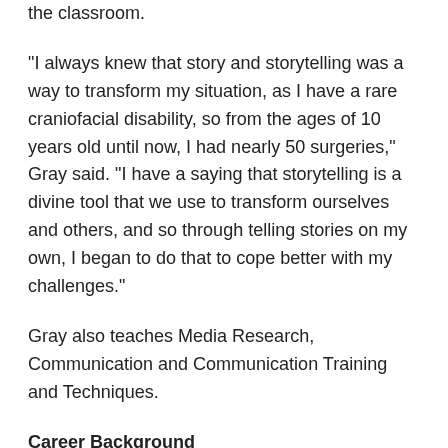the classroom.
"I always knew that story and storytelling was a way to transform my situation, as I have a rare craniofacial disability, so from the ages of 10 years old until now, I had nearly 50 surgeries," Gray said. "I have a saying that storytelling is a divine tool that we use to transform ourselves and others, and so through telling stories on my own, I began to do that to cope better with my challenges."
Gray also teaches Media Research, Communication and Communication Training and Techniques.
Career Background
Gray worked for Paramount Pictures and climbed her way up in the entertainment industry, landing a position